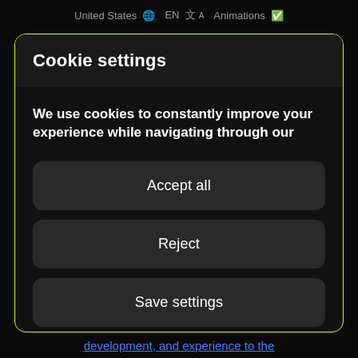United States 🌐 EN 文A Animations ✅
Cookie settings
We use cookies to constantly improve your experience while navigating through our
Accept all
Reject
Save settings
development, and experience to the